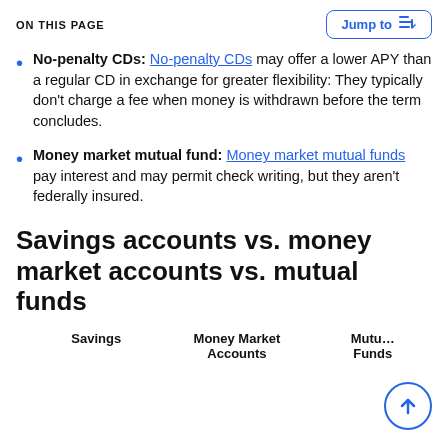ON THIS PAGE
No-penalty CDs: No-penalty CDs may offer a lower APY than a regular CD in exchange for greater flexibility: They typically don't charge a fee when money is withdrawn before the term concludes.
Money market mutual fund: Money market mutual funds pay interest and may permit check writing, but they aren't federally insured.
Savings accounts vs. money market accounts vs. mutual funds
| Savings | Money Market Accounts | Mutual Funds |
| --- | --- | --- |